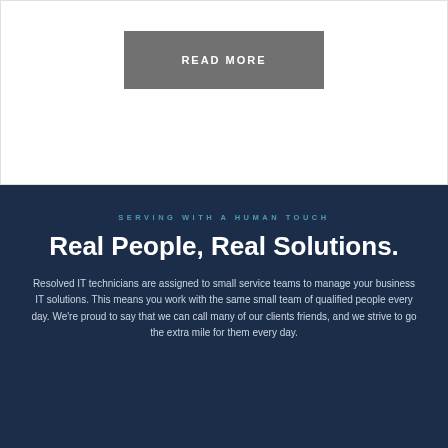READ MORE
SERVING WITH A HUMAN TOUCH
Real People, Real Solutions.
Resolved IT technicians are assigned to small service teams to manage your business IT solutions. This means you work with the same small team of qualified people every day. We’re proud to say that we can call many of our clients friends, and we strive to go the extra mile for them every day.